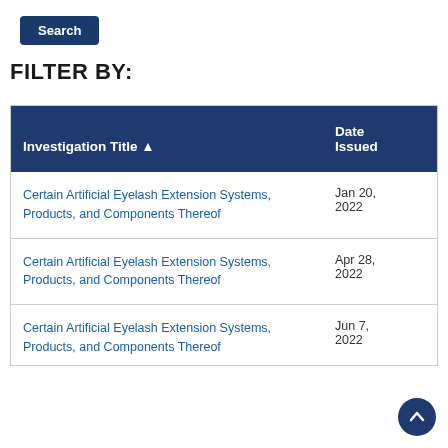Search
FILTER BY:
| Investigation Title ▲ | Date Issued |
| --- | --- |
| Certain Artificial Eyelash Extension Systems, Products, and Components Thereof | Jan 20, 2022 |
| Certain Artificial Eyelash Extension Systems, Products, and Components Thereof | Apr 28, 2022 |
| Certain Artificial Eyelash Extension Systems, Products, and Components Thereof | Jun 7, 2022 |